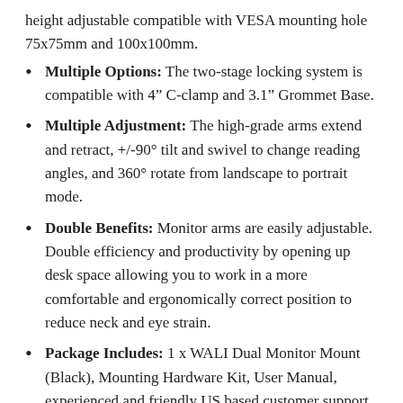height adjustable compatible with VESA mounting hole 75x75mm and 100x100mm.
Multiple Options: The two-stage locking system is compatible with 4” C-clamp and 3.1” Grommet Base.
Multiple Adjustment: The high-grade arms extend and retract, +/-90° tilt and swivel to change reading angles, and 360° rotate from landscape to portrait mode.
Double Benefits: Monitor arms are easily adjustable. Double efficiency and productivity by opening up desk space allowing you to work in a more comfortable and ergonomically correct position to reduce neck and eye strain.
Package Includes: 1 x WALI Dual Monitor Mount (Black), Mounting Hardware Kit, User Manual, experienced and friendly US based customer support available to assist 7 days a week.
Additional Info :